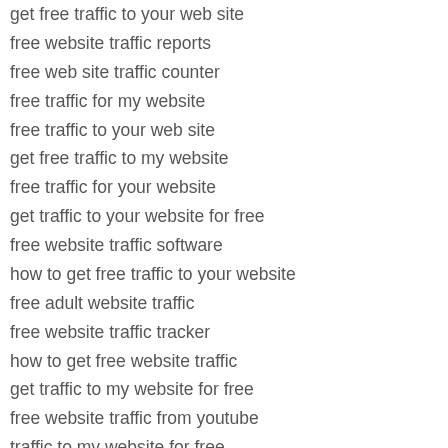get free traffic to your web site
free website traffic reports
free web site traffic counter
free traffic for my website
free traffic to your web site
get free traffic to my website
free traffic for your website
get traffic to your website for free
free website traffic software
how to get free traffic to your website
free adult website traffic
free website traffic tracker
how to get free website traffic
get traffic to my website for free
free website traffic from youtube
traffic to my website for free
traffic to your website for free
web site traffic for free
free web traffic